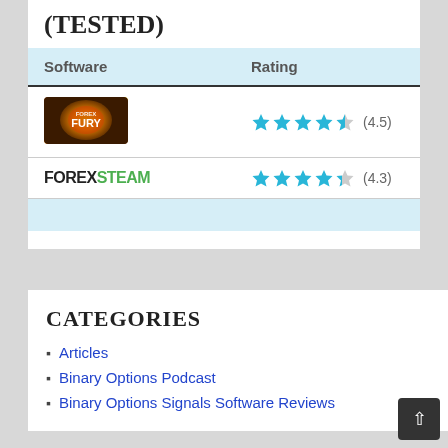(TESTED)
| Software | Rating |
| --- | --- |
| Forex Fury logo | ★★★★½ (4.5) |
| FOREXSTEAM logo | ★★★★☆ (4.3) |
CATEGORIES
Articles
Binary Options Podcast
Binary Options Signals Software Reviews